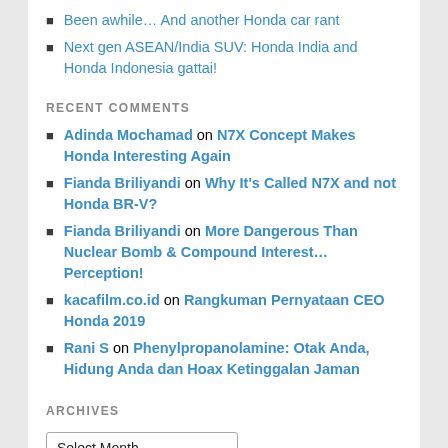Been awhile… And another Honda car rant
Next gen ASEAN/India SUV: Honda India and Honda Indonesia gattai!
RECENT COMMENTS
Adinda Mochamad on N7X Concept Makes Honda Interesting Again
Fianda Briliyandi on Why It's Called N7X and not Honda BR-V?
Fianda Briliyandi on More Dangerous Than Nuclear Bomb & Compound Interest… Perception!
kacafilm.co.id on Rangkuman Pernyataan CEO Honda 2019
Rani S on Phenylpropanolamine: Otak Anda, Hidung Anda dan Hoax Ketinggalan Jaman
ARCHIVES
Select Month (dropdown)
CATEGORIES